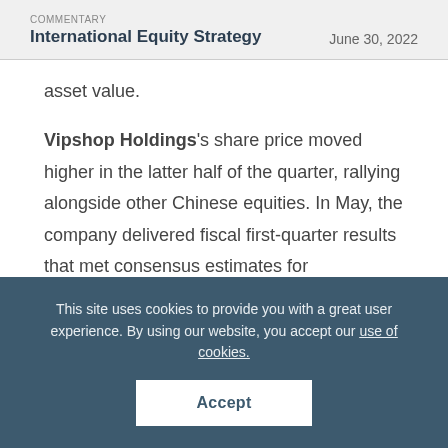COMMENTARY International Equity Strategy | June 30, 2022
asset value.
Vipshop Holdings's share price moved higher in the latter half of the quarter, rallying alongside other Chinese equities. In May, the company delivered fiscal first-quarter results that met consensus estimates for
This site uses cookies to provide you with a great user experience. By using our website, you accept our use of cookies.